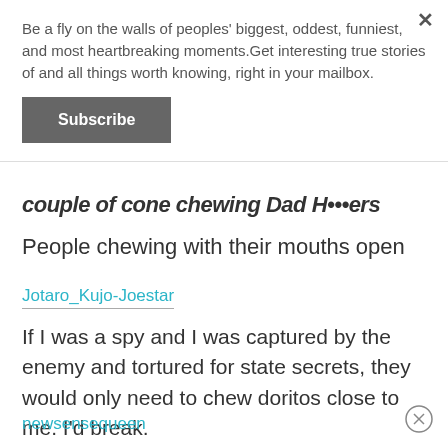Be a fly on the walls of peoples' biggest, oddest, funniest, and most heartbreaking moments.Get interesting true stories of and all things worth knowing, right in your mailbox.
Subscribe
couple of cone chewing Dad Haters
People chewing with their mouths open
Jotaro_Kujo-Joestar
If I was a spy and I was captured by the enemy and tortured for state secrets, they would only need to chew doritos close to me. I'd break.
newsensequeen